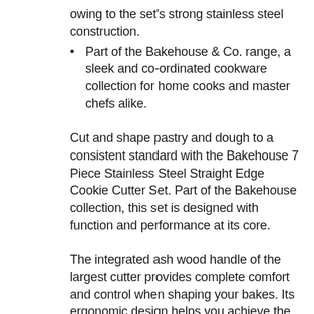owing to the set's strong stainless steel construction.
Part of the Bakehouse & Co. range, a sleek and co-ordinated cookware collection for home cooks and master chefs alike.
Cut and shape pastry and dough to a consistent standard with the Bakehouse 7 Piece Stainless Steel Straight Edge Cookie Cutter Set. Part of the Bakehouse collection, this set is designed with function and performance at its core.
The integrated ash wood handle of the largest cutter provides complete comfort and control when shaping your bakes. Its ergonomic design helps you achieve the perfect edge every time.
We've even designed this set with an